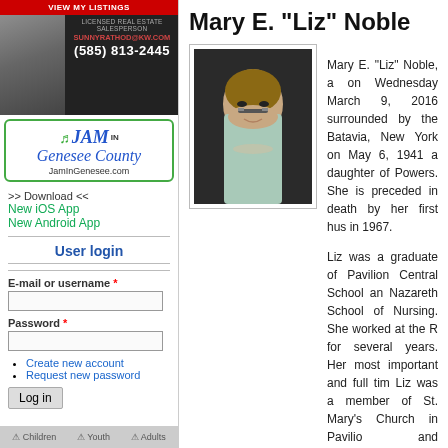[Figure (photo): Real estate advertisement banner with photo of agent, text VIEW MY LISTINGS, LICENSED REAL ESTATE SALESPERSON, SUNNYRATHOD@KW.COM, (585) 813-2445]
[Figure (logo): JAM in Genesee County advertisement with guitar graphic and URL JamInGenesee.com]
>> Download <<
New iOS App
New Android App
User login
E-mail or username *
Password *
Create new account
Request new password
Mary E. "Liz" Noble
[Figure (photo): Portrait photo of Mary E. Liz Noble, an older woman with short brown hair and glasses wearing a light blue turtleneck sweater with a necklace]
Mary E. "Liz" Noble, a on Wednesday March 9, 2016 surrounded by the Batavia, New York on May 6, 1941 a daughter of Powers. She is preceded in death by her first hus in 1967.
Liz was a graduate of Pavilion Central School an Nazareth School of Nursing. She worked at the R for several years. Her most important and full tim Liz was a member of St. Mary's Church in Pavilio and especially enjoyed times spent with her husb
She is survived by her husband David Noble who daughters Mary Kate Noble of Perry, Amy (Chris of Port Leyden, NY, Sarah (Christian) Rounds of Harrisburg, PA...Leona Price Amy) March for